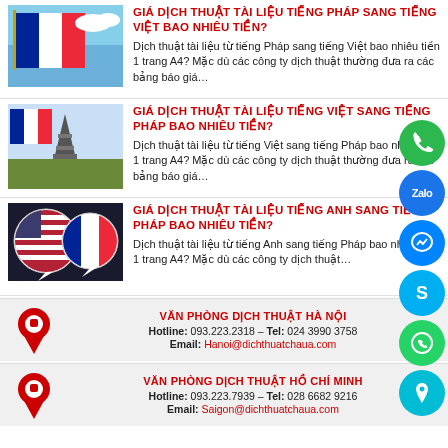GIÁ DỊCH THUẬT TÀI LIỆU TIẾNG PHÁP SANG TIẾNG VIỆT BAO NHIÊU TIỀN?
Dịch thuật tài liệu từ tiếng Pháp sang tiếng Việt bao nhiêu tiền 1 trang A4? Mặc dù các công ty dịch thuật thường đưa ra các bảng báo giá…
GIÁ DỊCH THUẬT TÀI LIỆU TIẾNG VIỆT SANG TIẾNG PHÁP BAO NHIÊU TIỀN?
Dịch thuật tài liệu từ tiếng Việt sang tiếng Pháp bao nhiêu tiền 1 trang A4? Mặc dù các công ty dịch thuật thường đưa ra các bảng báo giá…
GIÁ DỊCH THUẬT TÀI LIỆU TIẾNG ANH SANG TIẾNG PHÁP BAO NHIÊU TIỀN?
Dịch thuật tài liệu từ tiếng Anh sang tiếng Pháp bao nhiêu tiền 1 trang A4? Mặc dù các công ty dịch thuật…
VĂN PHÒNG DỊCH THUẬT HÀ NỘI
Hotline: 093.223.2318 – Tel: 024 3990 3758
Email: Hanoi@dichthuatchaua.com
VĂN PHÒNG DỊCH THUẬT HỒ CHÍ MINH
Hotline: 093.223.7939 – Tel: 028 6682 9216
Email: Saigon@dichthuatchaua.com